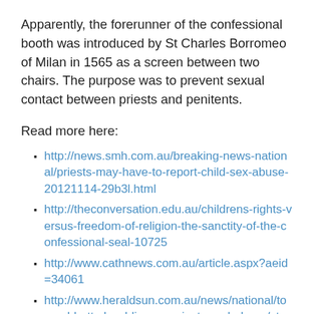Apparently, the forerunner of the confessional booth was introduced by St Charles Borromeo of Milan in 1565 as a screen between two chairs. The purpose was to prevent sexual contact between priests and penitents.
Read more here:
http://news.smh.com.au/breaking-news-national/priests-may-have-to-report-child-sex-abuse-20121114-29b3l.html
http://theconversation.edu.au/childrens-rights-versus-freedom-of-religion-the-sanctity-of-the-confessional-seal-10725
http://www.cathnews.com.au/article.aspx?aeid=34061
http://www.heraldsun.com.au/news/national/tony-abbotts-hard-line-on-priests-and-abuse/story-fndo317q-1226517718803